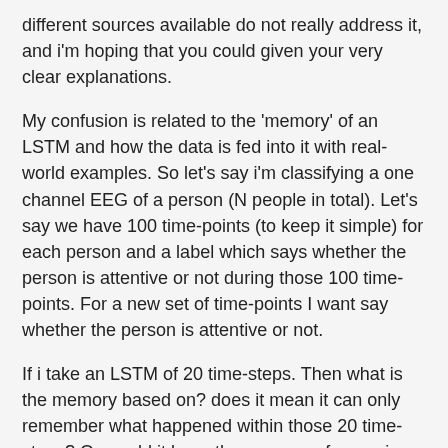different sources available do not really address it, and i'm hoping that you could given your very clear explanations.
My confusion is related to the 'memory' of an LSTM and how the data is fed into it with real-world examples. So let's say i'm classifying a one channel EEG of a person (N people in total). Let's say we have 100 time-points (to keep it simple) for each person and a label which says whether the person is attentive or not during those 100 time-points. For a new set of time-points I want say whether the person is attentive or not.
If i take an LSTM of 20 time-steps. Then what is the memory based on? does it mean it can only remember what happened within those 20 time-steps? Or would it keep the memory of a previous chunk of time-steps fed into it? And do training examples now simply become 20-time-step chunks and the LSTM can re-call think from previous chunks? Because to me when people talk about say the prediction of the next word from the end of the Document after passing the whole document through an LSTM, they mention that LSTMs are good as they can even remember words at the